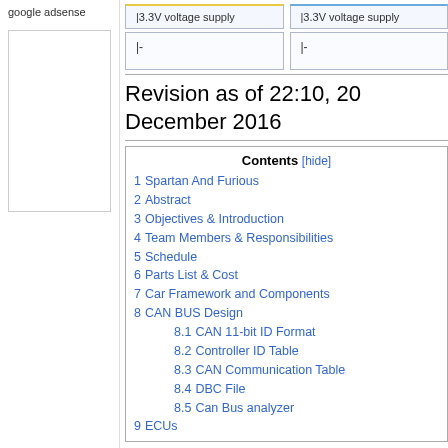google adsense
[Figure (other): Top diagram boxes showing 3.3V voltage supply labels and connector symbols]
Revision as of 22:10, 20 December 2016
| # | Contents |
| --- | --- |
| 1 | Spartan And Furious |
| 2 | Abstract |
| 3 | Objectives & Introduction |
| 4 | Team Members & Responsibilities |
| 5 | Schedule |
| 6 | Parts List & Cost |
| 7 | Car Framework and Components |
| 8 | CAN BUS Design |
| 8.1 | CAN 11-bit ID Format |
| 8.2 | Controller ID Table |
| 8.3 | CAN Communication Table |
| 8.4 | DBC File |
| 8.5 | Can Bus analyzer |
| 9 | ECUs |